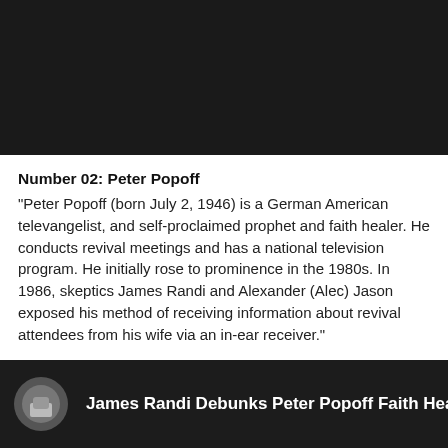[Figure (screenshot): Dark/black video player area at the top of the page]
Number 02: Peter Popoff
"Peter Popoff (born July 2, 1946) is a German American televangelist, and self-proclaimed prophet and faith healer. He conducts revival meetings and has a national television program. He initially rose to prominence in the 1980s. In 1986, skeptics James Randi and Alexander (Alec) Jason exposed his method of receiving information about revival attendees from his wife via an in-ear receiver."
[Figure (screenshot): YouTube video thumbnail at the bottom showing 'James Randi Debunks Peter Popoff Faith Healer' with a circular avatar icon on the left and white title text on dark background]